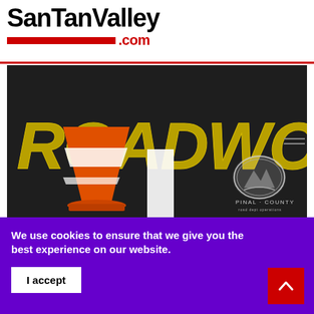SanTanValley .com
[Figure (photo): Roadwork banner image showing the word ROADWORK in large bold yellow/gold letters on a dark background, with an orange traffic cone on asphalt and a white lane stripe. Pinal County logo and text visible in bottom right corner.]
We use cookies to ensure that we give you the best experience on our website.
I accept